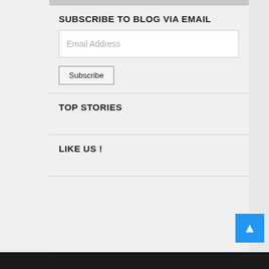SUBSCRIBE TO BLOG VIA EMAIL
Email Address
Subscribe
TOP STORIES
LIKE US !
[Figure (other): Facebook share button with 'f' icon and SHARE label]
[Figure (other): Twitter tweet button with bird icon and TWEET label]
[Figure (other): Google Plus button with G+ icon and GPLUS label]
[Figure (other): LinkedIn button with 'in' icon]